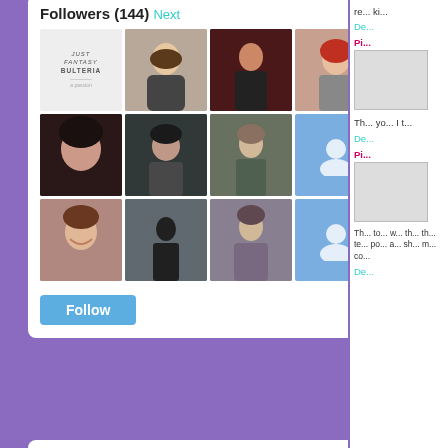Followers (144) Next
[Figure (screenshot): Grid of follower avatar thumbnails, 3 rows of 7 avatars each. Some are profile photos, two are blue placeholder person icons.]
[Figure (screenshot): Blue Follow button]
Follow Me On Social Media
[Figure (logo): Follow me on bloglovin' button/badge with border]
[Figure (logo): BR logo — circular seal with letters BR in bold black, dotted border ring around it]
Th... yo... I t...
De...
Pi...
Th... to... w... th... th... te... po... a... sh... m... co...
De...